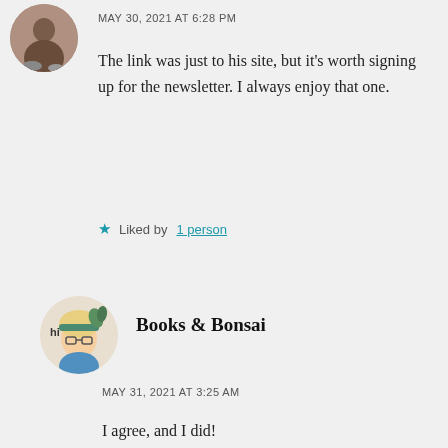[Figure (photo): Circular avatar photo of a person crouching outdoors]
MAY 30, 2021 AT 6:28 PM
The link was just to his site, but it's worth signing up for the newsletter. I always enjoy that one.
★ Liked by 1 person
[Figure (illustration): Circular avatar illustration of an animated character with 'hi' text]
Books & Bonsai
MAY 31, 2021 AT 3:25 AM
I agree, and I did!